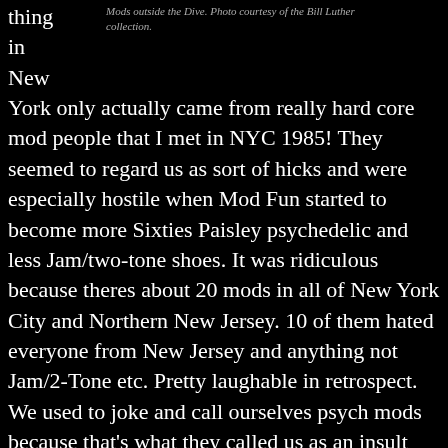thing
in
New
Mods outside the Dive. Photo courtesy of the Bill Luther collection.
York only actually came from really hard core mod people that I met in NYC 1985! They seemed to regard us as sort of hicks and were especially hostile when Mod Fun started to become more Sixties Paisley psychedelic and less Jam/two-tone shoes. It was ridiculous because theres about 20 mods in all of New York City and Northern New Jersey. 10 of them hated everyone from New Jersey and anything not Jam/2-Tone etc. Pretty laughable in retrospect. We used to joke and call ourselves psych mods because that's what they called us as an insult and took it as a badge of honor and